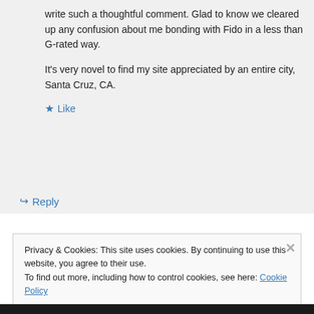write such a thoughtful comment. Glad to know we cleared up any confusion about me bonding with Fido in a less than G-rated way.

It's very novel to find my site appreciated by an entire city, Santa Cruz, CA.
★ Like
↪ Reply
Privacy & Cookies: This site uses cookies. By continuing to use this website, you agree to their use.
To find out more, including how to control cookies, see here: Cookie Policy

Close and accept